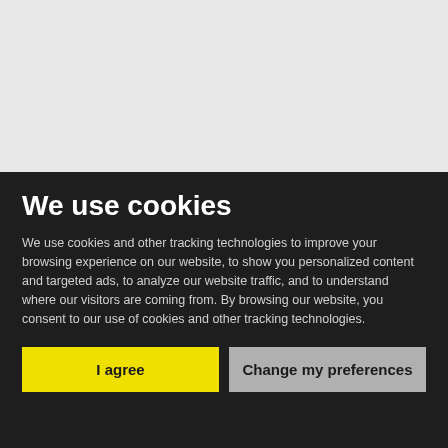[Figure (screenshot): Light gray background area representing a website or app interface behind the cookie consent overlay]
We use cookies
We use cookies and other tracking technologies to improve your browsing experience on our website, to show you personalized content and targeted ads, to analyze our website traffic, and to understand where our visitors are coming from. By browsing our website, you consent to our use of cookies and other tracking technologies.
I agree
Change my preferences